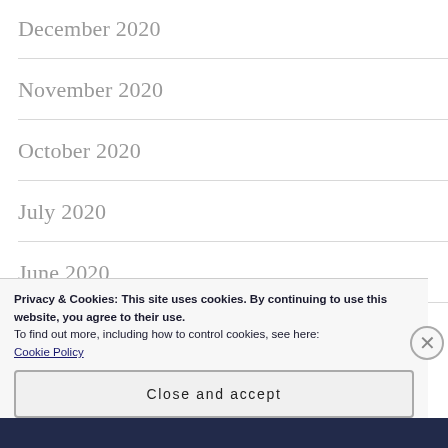December 2020
November 2020
October 2020
July 2020
June 2020
Privacy & Cookies: This site uses cookies. By continuing to use this website, you agree to their use.
To find out more, including how to control cookies, see here:
Cookie Policy
Close and accept